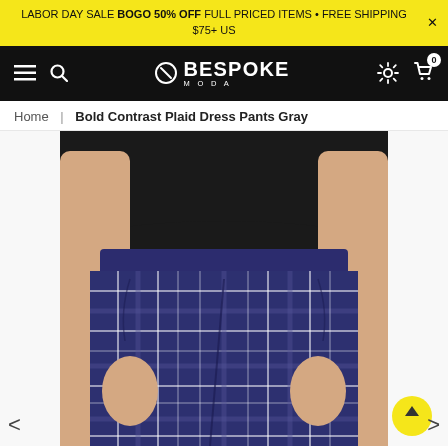LABOR DAY SALE BOGO 50% OFF FULL PRICED ITEMS • FREE SHIPPING $75+ US
[Figure (screenshot): Bespoke Moda navigation bar with hamburger menu, search icon, logo, settings icon, and cart with 0 items badge]
Home | Bold Contrast Plaid Dress Pants Gray
[Figure (photo): Man wearing navy/white bold contrast plaid dress pants with black shirt, showing torso and pants from waist to below knee]